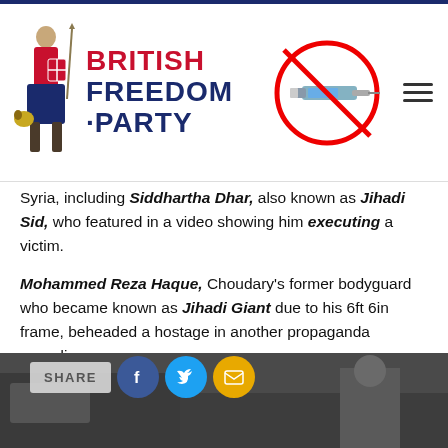British Freedom Party
Syria, including Siddhartha Dhar, also known as Jihadi Sid, who featured in a video showing him executing a victim.
Mohammed Reza Haque, Choudary's former bodyguard who became known as Jihadi Giant due to his 6ft 6in frame, beheaded a hostage in another propaganda recording.
Jayda Fransen was arrested for confronting Choudary on the streets of London, where he regularly invited support for ISIS and encouraged Muslims to engage in Jihad against non-Muslims.
[Figure (photo): Bottom portion showing a vehicle and a person, with a social share bar overlay showing SHARE, Facebook, Twitter, and email buttons.]